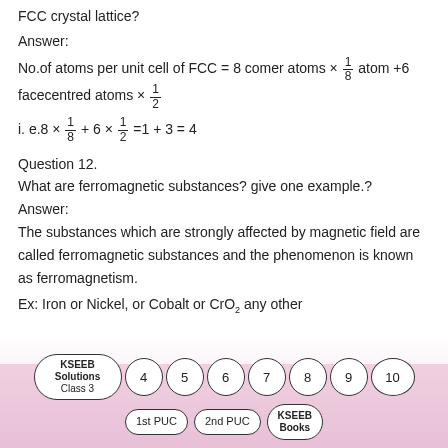FCC crystal lattice?
Answer:
No.of atoms per unit cell of FCC = 8 comer atoms × 1/8 atom +6 facecentred atoms × 1/2
Question 12.
What are ferromagnetic substances? give one example.?
Answer:
The substances which are strongly affected by magnetic field are called ferromagnetic substances and the phenomenon is known as ferromagnetism.
Ex: Iron or Nickel, or Cobalt or CrO₂ any other
KSEEB Solutions Class 3 | 4 | 5 | 6 | 7 | 8 | 9 | 10 | 1st PUC | 2nd PUC | KSEEB Books